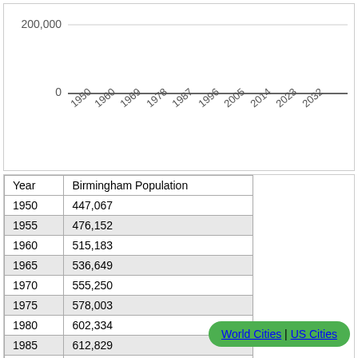[Figure (line-chart): Line chart showing Birmingham population from 1950 to 2032 with y-axis showing 0 and 200,000]
| Year | Birmingham Population |
| --- | --- |
| 1950 | 447,067 |
| 1955 | 476,152 |
| 1960 | 515,183 |
| 1965 | 536,649 |
| 1970 | 555,250 |
| 1975 | 578,003 |
| 1980 | 602,334 |
| 1985 | 612,829 |
| 1990 | 620,859 |
World Cities | US Cities